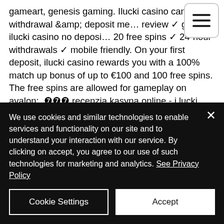gameart, genesis gaming. Ilucki casino canada: withdrawal &amp; deposit me… review ✓ great ilucki casino no deposi… 20 free spins ✓ 24-hour withdrawals ✓ mobile friendly. On your first deposit, ilucki casino rewards you with a 100% match up bonus of up to €100 and 100 free spins. The free spins are allowed for gameplay on avalon:. ❼❼❼ recenzja kasyna online - i lucki casino w polsce ✓ zdobądź swój bonus → 100% do 400 pln + 100 fs 🎰 zarejestruj konto w ilucki 👆 sprawdź gry. Ilucki casino
[Figure (other): Hamburger menu button (three horizontal lines) in a rounded rectangle border]
We use cookies and similar technologies to enable services and functionality on our site and to understand your interaction with our service. By clicking on accept, you agree to our use of such technologies for marketing and analytics. See Privacy Policy
Cookie Settings
Accept